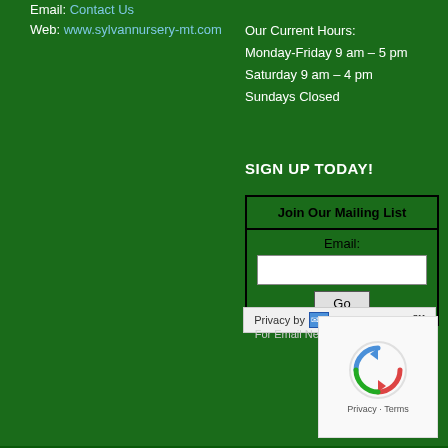Email: Contact Us
Web: www.sylvannursery-mt.com
Our Current Hours:
Monday-Friday 9 am – 5 pm
Saturday 9 am – 4 pm
Sundays Closed
SIGN UP TODAY!
| Join Our Mailing List |
| --- |
| Email: |  |
| Go |  |
[Figure (infographic): SafeSubscribe privacy badge with envelope/checkmark icon and SafeSubscribe SM branding]
For Email Newsletters you can trust
[Figure (infographic): reCAPTCHA widget showing circular arrows logo with Privacy and Terms links]